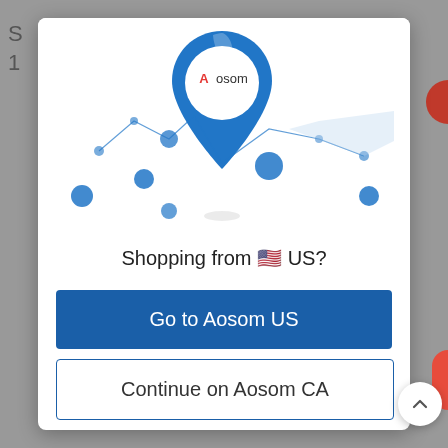[Figure (logo): Aosom brand geo-pin logo with map dots and lines illustration — a blue map marker pin containing the Aosom logo (red A, gray 'osom') centered above a stylized map with dots and connecting lines]
Shopping from 🇺🇸 US?
Go to Aosom US
Continue on Aosom CA